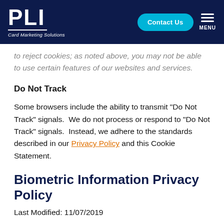PLI Card Marketing Solutions | Contact Us | MENU
to reject cookies; as noted above, you may not be able to use certain features of our websites and services.
Do Not Track
Some browsers include the ability to transmit "Do Not Track" signals.  We do not process or respond to "Do Not Track" signals.  Instead, we adhere to the standards described in our Privacy Policy and this Cookie Statement.
Biometric Information Privacy Policy
Last Modified: 11/07/2019
Purpose of This Policy